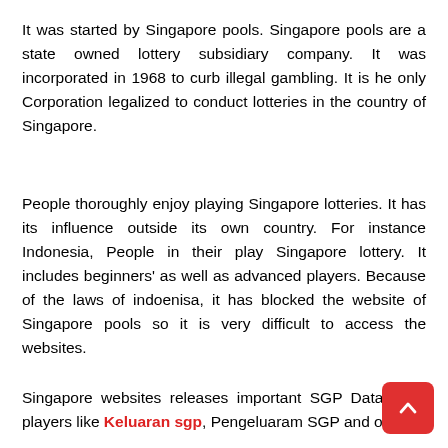It was started by Singapore pools. Singapore pools are a state owned lottery subsidiary company. It was incorporated in 1968 to curb illegal gambling. It is he only Corporation legalized to conduct lotteries in the country of Singapore.
People thoroughly enjoy playing Singapore lotteries. It has its influence outside its own country. For instance Indonesia, People in their play Singapore lottery. It includes beginners' as well as advanced players. Because of the laws of indoenisa, it has blocked the website of Singapore pools so it is very difficult to access the websites.
Singapore websites releases important SGP Data for it players like Keluaran sgp, Pengeluaram SGP and other